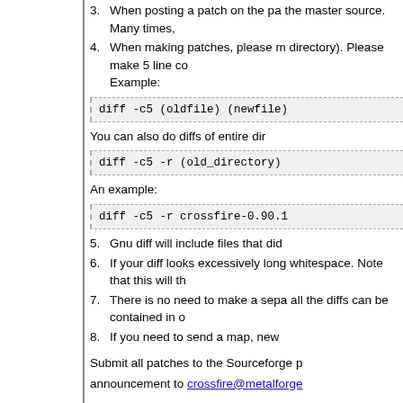3. When posting a patch on the pa the master source. Many times,
4. When making patches, please m directory). Please make 5 line co Example:
[Figure (screenshot): Code block showing: diff -c5 (oldfile) (newfile)]
You can also do diffs of entire dir
[Figure (screenshot): Code block showing: diff -c5 -r (old_directory)]
An example:
[Figure (screenshot): Code block showing: diff -c5 -r crossfire-0.90.1]
5. Gnu diff will include files that did
6. If your diff looks excessively long whitespace. Note that this will th
7. There is no need to make a sepa all the diffs can be contained in o
8. If you need to send a map, new
Submit all patches to the Sourceforge p
announcement to crossfire@metalforge